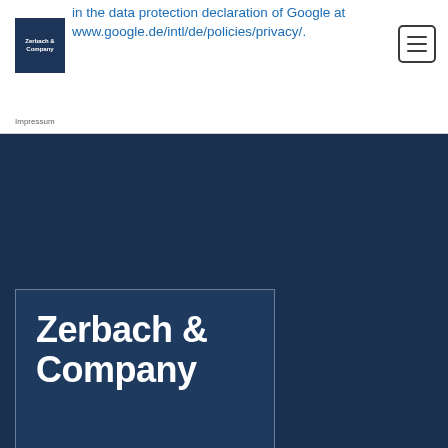[Figure (logo): Zerbach & Company logo — dark blue square with white text]
in the data protection declaration of Google at www.google.de/intl/de/policies/privacy/.
[Figure (illustration): Hamburger menu button icon (three horizontal bars in a rounded square border)]
Impressum
[Figure (logo): Large Zerbach & Company logo card — dark navy blue rectangle with white bold text reading 'Zerbach & Company' and a light border outline]